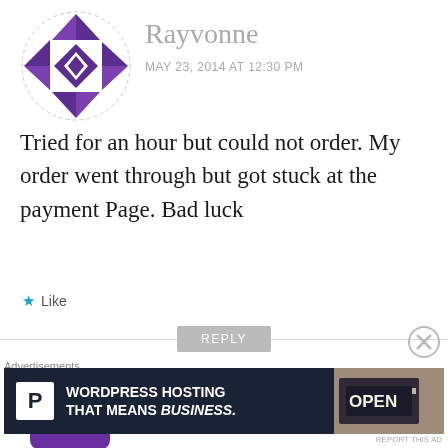[Figure (illustration): Circular avatar icon with purple geometric pattern (pinwheel/diamond shapes) for user Rayvonne]
Rayvonne
MAY 23, 2014 AT 12:30 PM
Tried for an hour but could not order. My order went through but got stuck at the payment Page. Bad luck
★ Like
REPLY
[Figure (illustration): Purple ghost/robot shaped avatar icon for user varma]
varma
MAY 23, 2014 AT 12:41 PM
Advertisements
[Figure (other): Advertisement banner: WordPress hosting 'WORDPRESS HOSTING THAT MEANS BUSINESS.' with a P logo box and an OPEN sign photo]